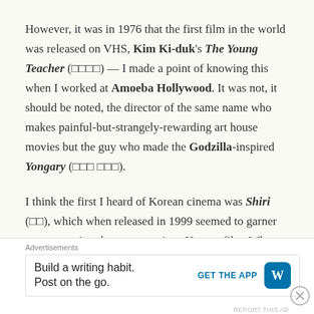However, it was in 1976 that the first film in the world was released on VHS, Kim Ki-duk's The Young Teacher (□□□□) — I made a point of knowing this when I worked at Amoeba Hollywood. It was not, it should be noted, the director of the same name who makes painful-but-strangely-rewarding art house movies but the guy who made the Godzilla-inspired Yongary (□□□ □□□).
I think the first I heard of Korean cinema was Shiri (□□), which when released in 1999 seemed to garner more attention than any previous Korean film. When Amoeba Hollywood opened in 2001, Il Mare, Joint Security Area, My Sassy Girl, and My Wife Is a Gangster were all big sellers. A
Advertisements
Build a writing habit. Post on the go.